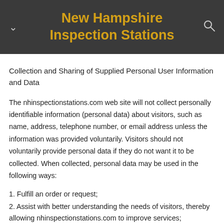New Hampshire Inspection Stations
Collection and Sharing of Supplied Personal User Information and Data
The nhinspectionstations.com web site will not collect personally identifiable information (personal data) about visitors, such as name, address, telephone number, or email address unless the information was provided voluntarily. Visitors should not voluntarily provide personal data if they do not want it to be collected. When collected, personal data may be used in the following ways:
1. Fulfill an order or request;
2. Assist with better understanding the needs of visitors, thereby allowing nhinspectionstations.com to improve services;